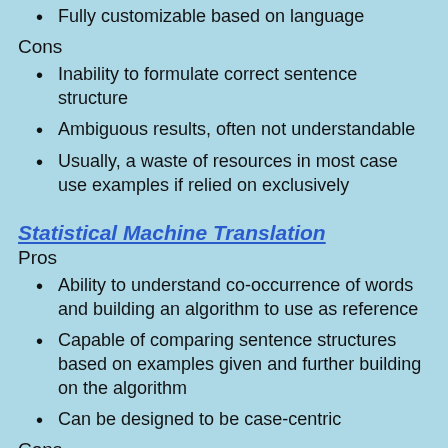Fully customizable based on language
Cons
Inability to formulate correct sentence structure
Ambiguous results, often not understandable
Usually, a waste of resources in most case use examples if relied on exclusively
Statistical Machine Translation
Pros
Ability to understand co-occurrence of words and building an algorithm to use as reference
Capable of comparing sentence structures based on examples given and further building on the algorithm
Can be designed to be case-centric
Cons
Words are not numbers